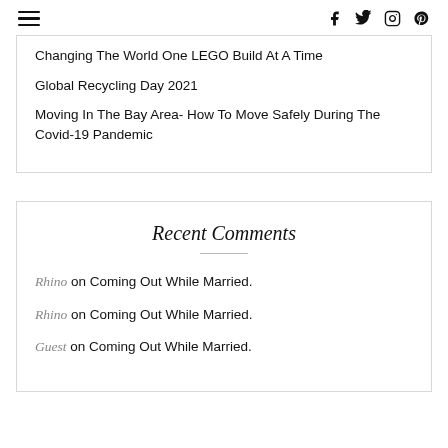≡  f  t  IG  P
Changing The World One LEGO Build At A Time
Global Recycling Day 2021
Moving In The Bay Area- How To Move Safely During The Covid-19 Pandemic
Recent Comments
Rhino on Coming Out While Married.
Rhino on Coming Out While Married.
Guest on Coming Out While Married.